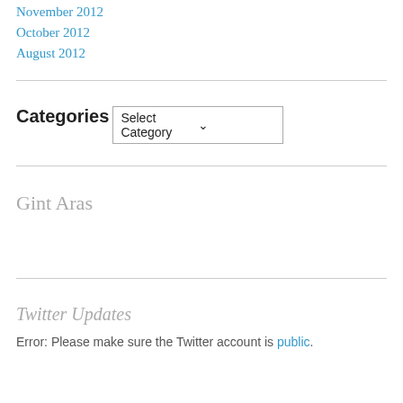November 2012
October 2012
August 2012
Categories
Select Category
Gint Aras
Twitter Updates
Error: Please make sure the Twitter account is public.